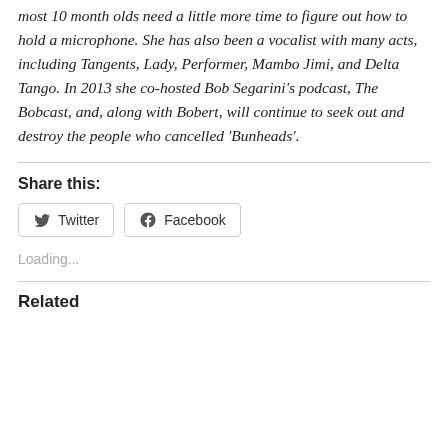most 10 month olds need a little more time to figure out how to hold a microphone. She has also been a vocalist with many acts, including Tangents, Lady, Performer, Mambo Jimi, and Delta Tango. In 2013 she co-hosted Bob Segarini's podcast, The Bobcast, and, along with Bobert, will continue to seek out and destroy the people who cancelled 'Bunheads'.
Share this:
Twitter
Facebook
Loading...
Related